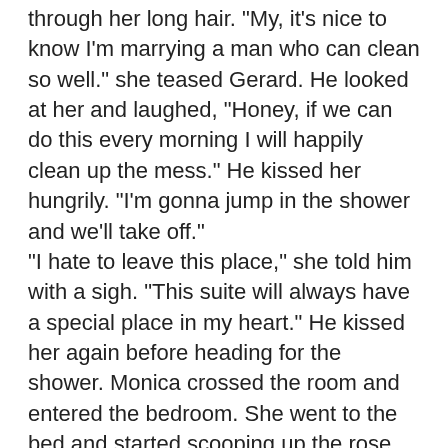through her long hair. "My, it's nice to know I'm marrying a man who can clean so well." she teased Gerard. He looked at her and laughed, "Honey, if we can do this every morning I will happily clean up the mess." He kissed her hungrily. "I'm gonna jump in the shower and we'll take off."
"I hate to leave this place," she told him with a sigh. "This suite will always have a special place in my heart." He kissed her again before heading for the shower. Monica crossed the room and entered the bedroom. She went to the bed and started scooping up the rose petals. Carefully she placed them in the envelope with the marriage proposal. These were mementos she would hold close to her heart always. Gee was such a romantic.
When he was finished he came out to see her sitting on the bed with tears in her eyes. "Monica, what's wrong?" At once he was at her side.
"Nothing is wrong, Gee. Everything is right." She sniffed. "So...